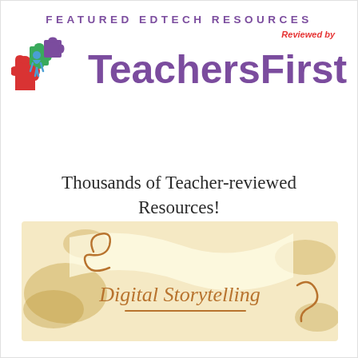FEATURED EDTECH RESOURCES
Reviewed by
[Figure (logo): TeachersFirst logo with colorful puzzle pieces (red, green, purple, blue) on the left and 'TeachersFirst' in large bold purple text on the right]
Thousands of Teacher-reviewed Resources!
[Figure (illustration): Digital Storytelling banner image with cream/beige background, brown ink-style watercolor splotches, a cursive 'e' flourish, and 'Digital Storytelling' written in brown script with a decorative underline]